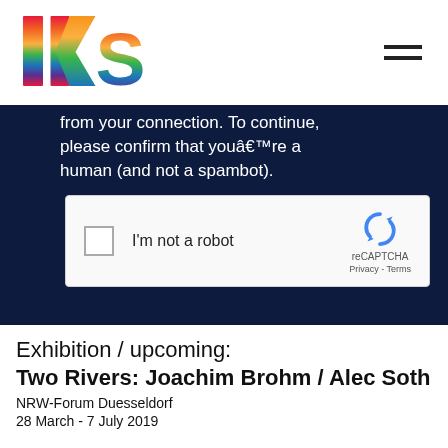[Figure (logo): IKS logo with rainbow colored letters I, K, S]
[Figure (screenshot): Dark navy panel showing a CAPTCHA verification message: 'from your connection. To continue, please confirm that youâ€™re a human (and not a spambot).' with a reCAPTCHA checkbox widget below reading 'I'm not a robot']
Exhibition / upcoming:
Two Rivers: Joachim Brohm / Alec Soth
NRW-Forum Duesseldorf
28 March - 7 July 2019